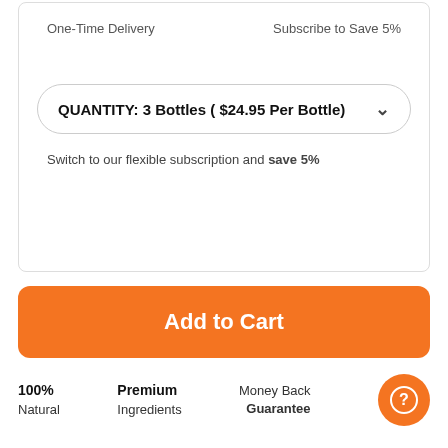One-Time Delivery    Subscribe to Save 5%
QUANTITY: 3 Bottles ( $24.95 Per Bottle)
Switch to our flexible subscription and save 5%
Add to Cart
100% Natural
Premium Ingredients
Money Back Guarantee